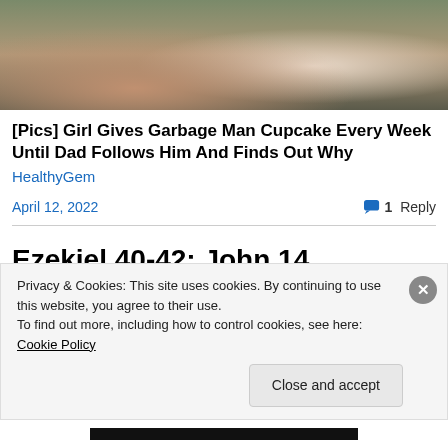[Figure (photo): Partial photo of two people, cropped at top, showing faces/upper body]
[Pics] Girl Gives Garbage Man Cupcake Every Week Until Dad Follows Him And Finds Out Why
HealthyGem
April 12, 2022   1 Reply
Ezekiel 40-42; John 14
I admit that I am one of those who are quite definitive that
Privacy & Cookies: This site uses cookies. By continuing to use this website, you agree to their use.
To find out more, including how to control cookies, see here: Cookie Policy
Close and accept